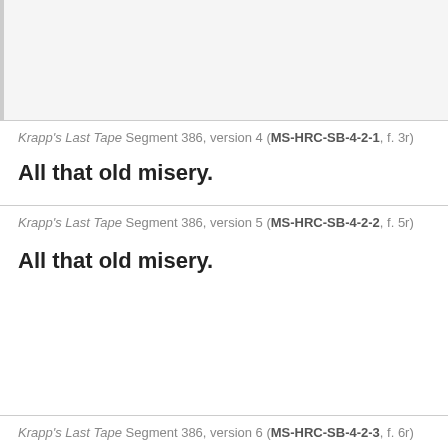[Figure (other): Gray box representing cropped/blurred content at top of page]
Krapp's Last Tape Segment 386, version 4 (MS-HRC-SB-4-2-1, f. 3r)
All that old misery.
Krapp's Last Tape Segment 386, version 5 (MS-HRC-SB-4-2-2, f. 5r)
All that old misery.
Krapp's Last Tape Segment 386, version 6 (MS-HRC-SB-4-2-3, f. 6r)